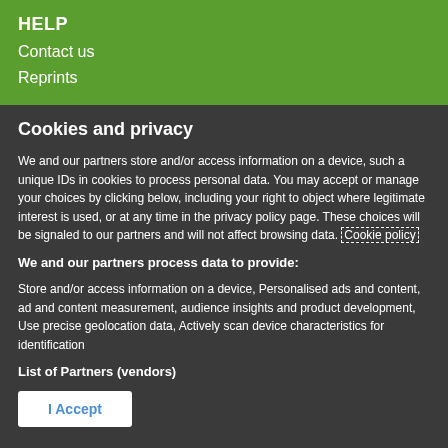HELP
Contact us
Reprints
Cookies and privacy
We and our partners store and/or access information on a device, such a unique IDs in cookies to process personal data. You may accept or manage your choices by clicking below, including your right to object where legitimate interest is used, or at any time in the privacy policy page. These choices will be signaled to our partners and will not affect browsing data. Cookie policy
We and our partners process data to provide:
Store and/or access information on a device, Personalised ads and content, ad and content measurement, audience insights and product development, Use precise geolocation data, Actively scan device characteristics for identification
List of Partners (vendors)
I Accept